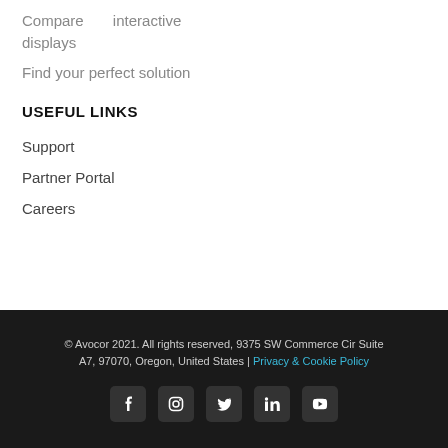Compare interactive displays
Find your perfect solution
USEFUL LINKS
Support
Partner Portal
Careers
© Avocor 2021. All rights reserved, 9375 SW Commerce Cir Suite A7, 97070, Oregon, United States | Privacy & Cookie Policy
[Figure (other): Social media icons: Facebook, Instagram, Twitter, LinkedIn, YouTube]